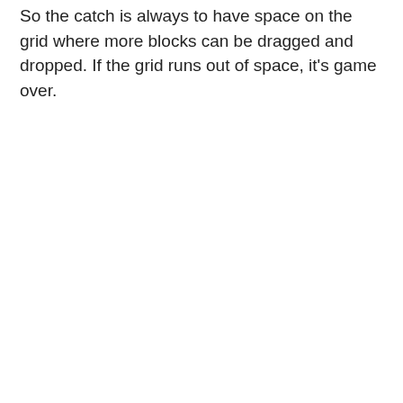So the catch is always to have space on the grid where more blocks can be dragged and dropped. If the grid runs out of space, it's game over.